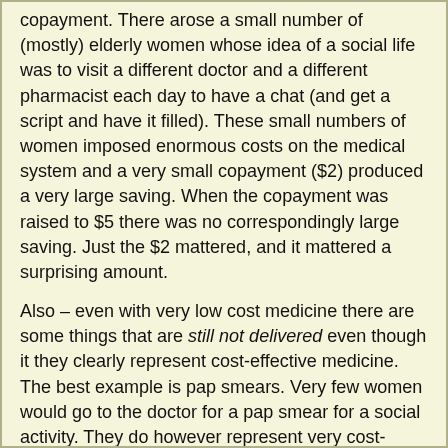copayment. There arose a small number of (mostly) elderly women whose idea of a social life was to visit a different doctor and a different pharmacist each day to have a chat (and get a script and have it filled). These small numbers of women imposed enormous costs on the medical system and a very small copayment ($2) produced a very large saving. When the copayment was raised to $5 there was no correspondingly large saving. Just the $2 mattered, and it mattered a surprising amount.
Also – even with very low cost medicine there are some things that are still not delivered even though it they clearly represent cost-effective medicine. The best example is pap smears. Very few women would go to the doctor for a pap smear for a social activity. They do however represent very cost-effective medicine. Getting young women to take jabs (the new HPV vaccine) also requires a solid advertising campaign.
Also some drugs pose particular issues. Viagra for instance is not delivered at subsidy through the health care system (for obvious reasons). But you can get subsidized Viagra if you have certain medical conditions (paraplegia being the